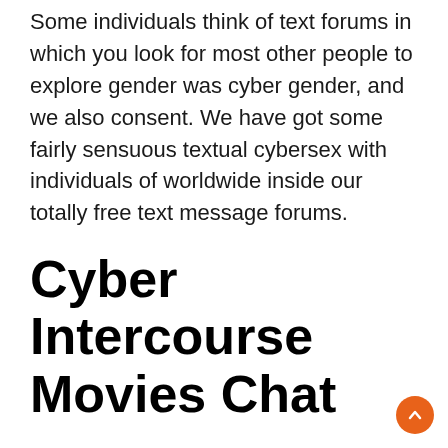Some individuals think of text forums in which you look for most other people to explore gender was cyber gender, and we also consent. We have got some fairly sensuous textual cybersex with individuals of worldwide inside our totally free text message forums.
Cyber Intercourse Movies Chat
Some individuals contemplate cyber sex since watching as well as getting noticed through alive clips over the internet. At the same time this would be complete simply compliment of